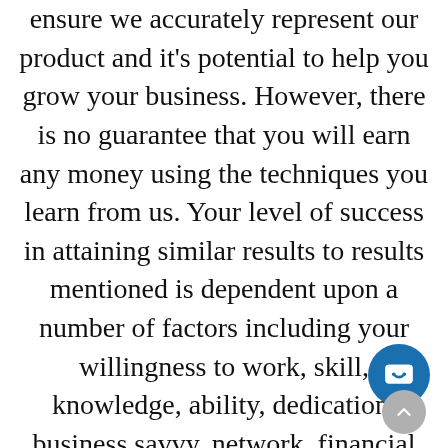ensure we accurately represent our product and it's potential to help you grow your business. However, there is no guarantee that you will earn any money using the techniques you learn from us. Your level of success in attaining similar results to results mentioned is dependent upon a number of factors including your willingness to work, skill, knowledge, ability, dedication, business savvy, network, financial situation, and luck. Any forward-looking statements outlined on our sites or in our products are simply our view future potential, and thus are not